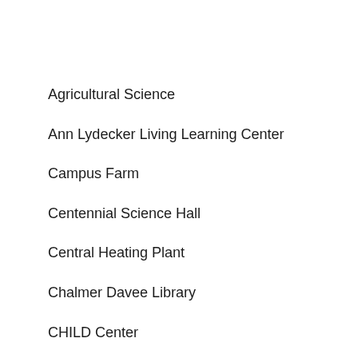Agricultural Science
Ann Lydecker Living Learning Center
Campus Farm
Centennial Science Hall
Central Heating Plant
Chalmer Davee Library
CHILD Center
Crabtree Hall